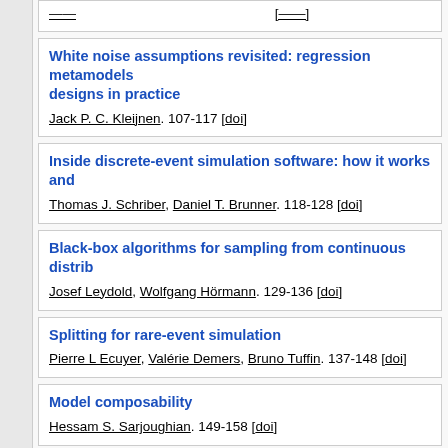White noise assumptions revisited: regression metamodels designs in practice. Jack P. C. Kleijnen. 107-117 [doi]
Inside discrete-event simulation software: how it works and. Thomas J. Schriber, Daniel T. Brunner. 118-128 [doi]
Black-box algorithms for sampling from continuous distrib. Josef Leydold, Wolfgang Hörmann. 129-136 [doi]
Splitting for rare-event simulation. Pierre L Ecuyer, Valérie Demers, Bruno Tuffin. 137-148 [doi]
Model composability. Hessam S. Sarjoughian. 149-158 [doi]
Gradient-based simulation optimization